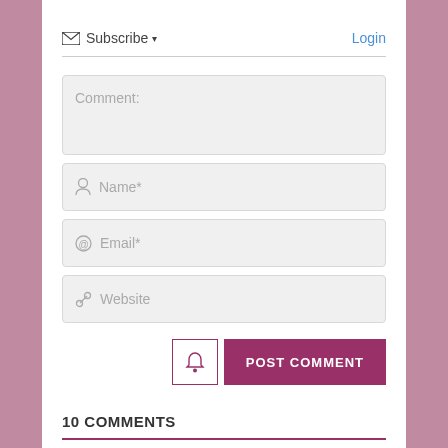Subscribe ▾
Login
Comment:
Name*
Email*
Website
POST COMMENT
10 COMMENTS